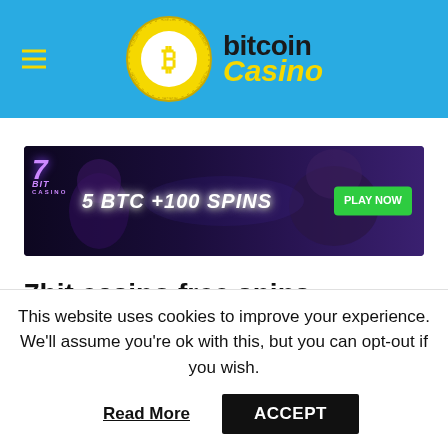[Figure (logo): Bitcoin Casino website header with logo: a gold Bitcoin coin with binary digits around the rim, followed by the text 'bitcoin' in black bold and 'Casino' in yellow italic. A hamburger menu icon (three yellow lines) is on the left. The header background is sky blue.]
[Figure (screenshot): 7bit Casino promotional banner: dark purple/indigo background with animated characters, '7 BIT CASINO' logo on left, '5 BTC +100 SPINS' promo text in large white italic letters, and a green 'PLAY NOW' button on the right.]
7bit casino free spins
https://www.7bitcasino.com
This website uses cookies to improve your experience. We'll assume you're ok with this, but you can opt-out if you wish.
Read More   ACCEPT